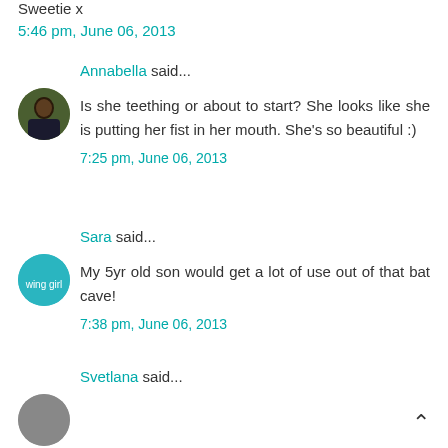Sweetie x
5:46 pm, June 06, 2013
Annabella said...
Is she teething or about to start? She looks like she is putting her fist in her mouth. She's so beautiful :)
7:25 pm, June 06, 2013
Sara said...
My 5yr old son would get a lot of use out of that bat cave!
7:38 pm, June 06, 2013
Svetlana said...